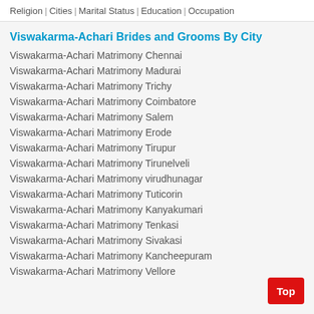Religion | Cities | Marital Status | Education | Occupation
Viswakarma-Achari Brides and Grooms By City
Viswakarma-Achari Matrimony Chennai
Viswakarma-Achari Matrimony Madurai
Viswakarma-Achari Matrimony Trichy
Viswakarma-Achari Matrimony Coimbatore
Viswakarma-Achari Matrimony Salem
Viswakarma-Achari Matrimony Erode
Viswakarma-Achari Matrimony Tirupur
Viswakarma-Achari Matrimony Tirunelveli
Viswakarma-Achari Matrimony virudhunagar
Viswakarma-Achari Matrimony Tuticorin
Viswakarma-Achari Matrimony Kanyakumari
Viswakarma-Achari Matrimony Tenkasi
Viswakarma-Achari Matrimony Sivakasi
Viswakarma-Achari Matrimony Kancheepuram
Viswakarma-Achari Matrimony Vellore